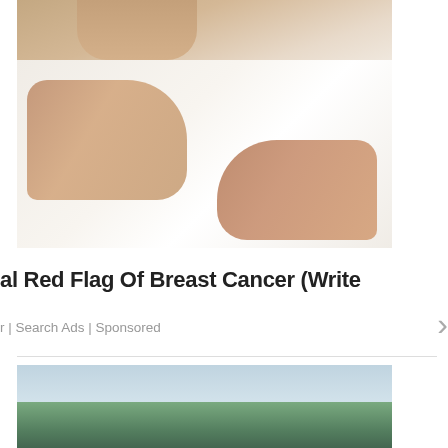[Figure (photo): Woman in white tank top with hands placed on chest/breast area — breast cancer awareness advertisement image]
al Red Flag Of Breast Cancer (Write
r | Search Ads | Sponsored
[Figure (photo): Outdoor landscape photo showing trees and sky, partial view at bottom of page]